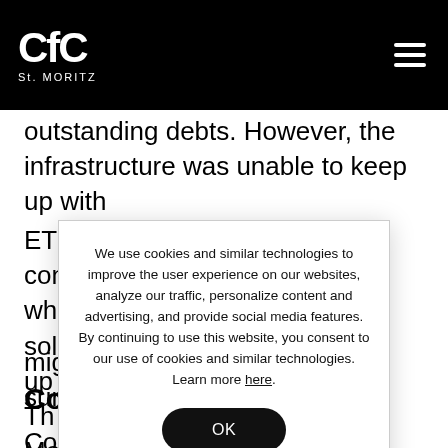CfC St. MORITZ
outstanding debts. However, the infrastructure was unable to keep up with ETH… …he, wh… …sol… …ed up… …on. Th… Mo… …de is t… might provide unpleasant surprises.
We use cookies and similar technologies to improve the user experience on our websites, analyze our traffic, personalize content and advertising, and provide social media features. By continuing to use this website, you consent to our use of cookies and similar technologies. Learn more here.
Compound
Compound is an algorithmic money market